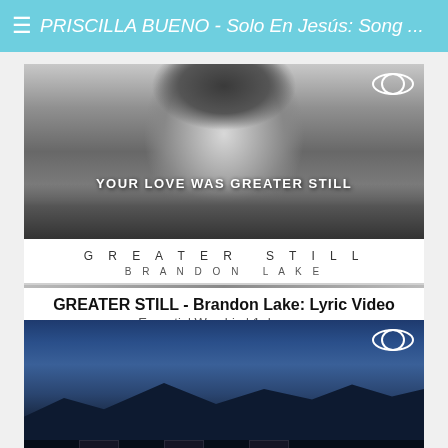≡ PRISCILLA BUENO - Solo En Jesús: Song ...
[Figure (screenshot): Black and white video thumbnail of a person with long hair singing into a microphone, with text 'YOUR LOVE WAS GREATER STILL' overlaid, and album info 'GREATER STILL / BRANDON LAKE' below]
GREATER STILL - Brandon Lake: Lyric Video
Essential Worship | 1 day ago
[Figure (screenshot): Blue-toned video thumbnail showing mountain silhouettes against a twilight sky with speaker equipment in the foreground, and album info 'ALWAYS / JASON INGRAM' below]